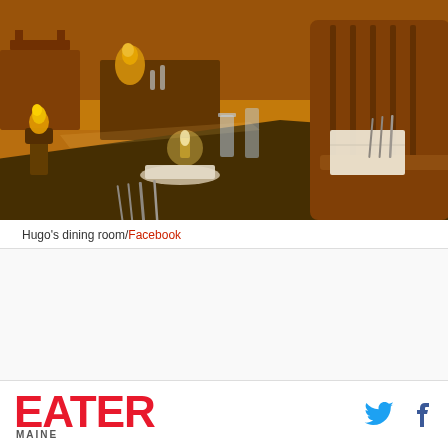[Figure (photo): Interior photo of Hugo's restaurant dining room showing dark wooden tables set with plates, silverware, glasses and white napkins, with wooden chairs and warm amber lighting throughout the room]
Hugo's dining room/Facebook
EATER MAINE